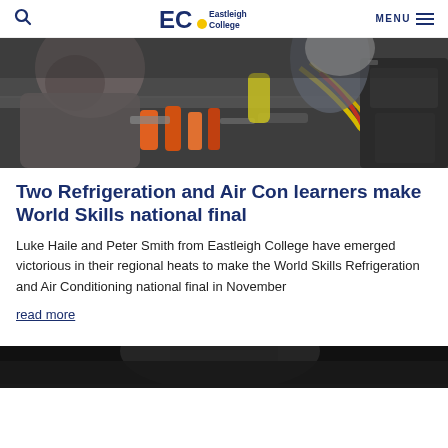Eastleigh College — Navigation header with search and menu
[Figure (photo): Students working on refrigeration and air conditioning equipment in a workshop, bending over a workbench with various tools and hoses]
Two Refrigeration and Air Con learners make World Skills national final
Luke Haile and Peter Smith from Eastleigh College have emerged victorious in their regional heats to make the World Skills Refrigeration and Air Conditioning national final in November
read more
[Figure (photo): Partial view of another image at the bottom of the page, appears to show a person]